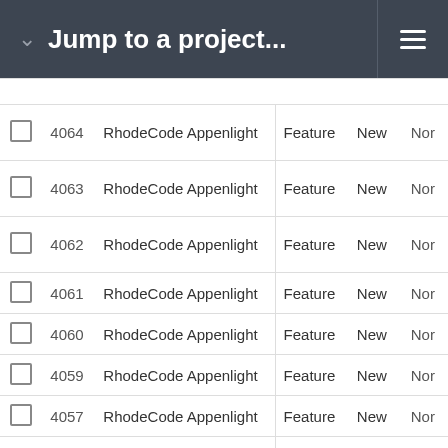Jump to a project...
|  | # | Project | Type | Status | Priority |
| --- | --- | --- | --- | --- | --- |
|  | 4064 | RhodeCode Appenlight | Feature | New | Nor |
|  | 4063 | RhodeCode Appenlight | Feature | New | Nor |
|  | 4062 | RhodeCode Appenlight | Feature | New | Nor |
|  | 4061 | RhodeCode Appenlight | Feature | New | Nor |
|  | 4060 | RhodeCode Appenlight | Feature | New | Nor |
|  | 4059 | RhodeCode Appenlight | Feature | New | Nor |
|  | 4057 | RhodeCode Appenlight | Feature | New | Nor |
|  | 4056 | RhodeCode Appenlight | Feature | New | Nor |
|  | 3994 | RhodeCode Appenlight | Bug | New | Nor |